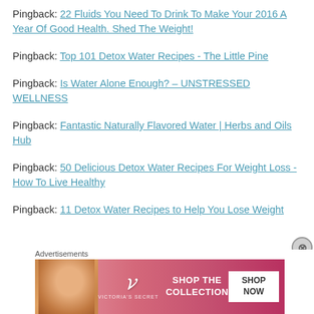Pingback: 22 Fluids You Need To Drink To Make Your 2016 A Year Of Good Health. Shed The Weight!
Pingback: Top 101 Detox Water Recipes - The Little Pine
Pingback: Is Water Alone Enough? – UNSTRESSED WELLNESS
Pingback: Fantastic Naturally Flavored Water | Herbs and Oils Hub
Pingback: 50 Delicious Detox Water Recipes For Weight Loss - How To Live Healthy
Pingback: 11 Detox Water Recipes to Help You Lose Weight
Advertisements
[Figure (photo): Victoria's Secret advertisement banner showing a woman's face on the left, VS logo in center, 'SHOP THE COLLECTION' text, and 'SHOP NOW' button on right]